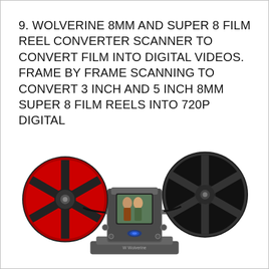9. WOLVERINE 8MM AND SUPER 8 FILM REEL CONVERTER SCANNER TO CONVERT FILM INTO DIGITAL VIDEOS. FRAME BY FRAME SCANNING TO CONVERT 3 INCH AND 5 INCH 8MM SUPER 8 FILM REELS INTO 720P DIGITAL
[Figure (photo): Wolverine film reel converter scanner device with a large red film reel on the left, a black film reel on the right, and a central scanning unit with a small LCD screen showing two women in formal attire. The device has a blue LED light and gray/dark body with Wolverine branding.]